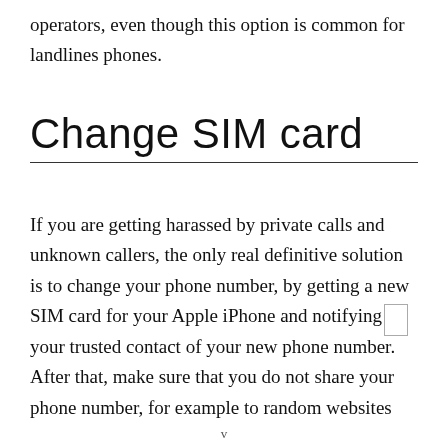operators, even though this option is common for landlines phones.
Change SIM card
If you are getting harassed by private calls and unknown callers, the only real definitive solution is to change your phone number, by getting a new SIM card for your Apple iPhone and notifying your trusted contact of your new phone number. After that, make sure that you do not share your phone number, for example to random websites
v